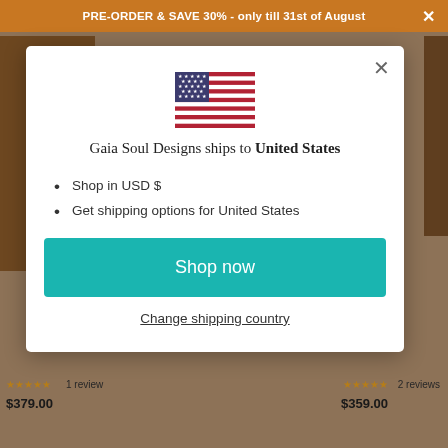PRE-ORDER & SAVE 30% - only till 31st of August
[Figure (illustration): US flag icon centered in modal]
Gaia Soul Designs ships to United States
Shop in USD $
Get shipping options for United States
Shop now
Change shipping country
1 review
$379.00
2 reviews
$359.00